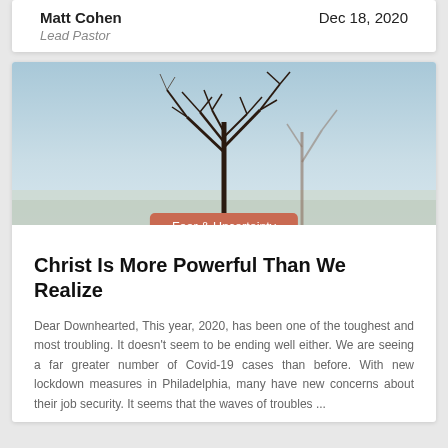Matt Cohen
Lead Pastor
Dec 18, 2020
[Figure (photo): A bare, leafless tree against a pale blue sky and flat horizon, outdoor nature photograph]
Fear & Uncertainty
Christ Is More Powerful Than We Realize
Dear Downhearted, This year, 2020, has been one of the toughest and most troubling. It doesn't seem to be ending well either. We are seeing a far greater number of Covid-19 cases than before. With new lockdown measures in Philadelphia, many have new concerns about their job security. It seems that the waves of troubles ...